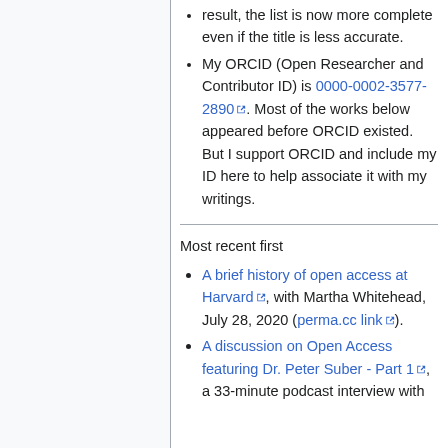result, the list is now more complete even if the title is less accurate.
My ORCID (Open Researcher and Contributor ID) is 0000-0002-3577-2890. Most of the works below appeared before ORCID existed. But I support ORCID and include my ID here to help associate it with my writings.
Most recent first
A brief history of open access at Harvard, with Martha Whitehead, July 28, 2020 (perma.cc link).
A discussion on Open Access featuring Dr. Peter Suber - Part 1, a 33-minute podcast interview with